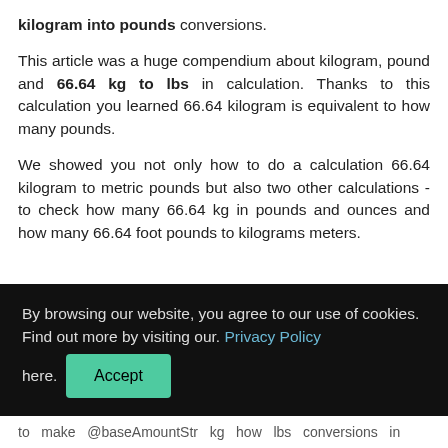kilogram into pounds conversions.
This article was a huge compendium about kilogram, pound and 66.64 kg to lbs in calculation. Thanks to this calculation you learned 66.64 kilogram is equivalent to how many pounds.
We showed you not only how to do a calculation 66.64 kilogram to metric pounds but also two other calculations - to check how many 66.64 kg in pounds and ounces and how many 66.64 foot pounds to kilograms meters.
By browsing our website, you agree to our use of cookies. Find out more by visiting our. Privacy Policy here.
to make @baseAmountStr kg how lbs conversions in